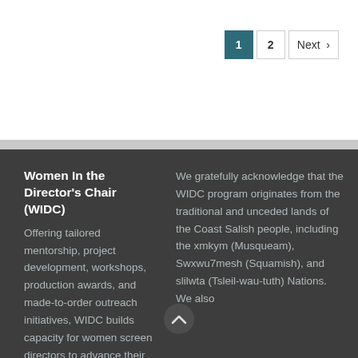1  2  Next >
Women In the Director's Chair (WIDC)
Offering tailored mentorship, project development, workshops, production awards, and made-to-order outreach initiatives, WIDC builds capacity for women screen directors to advance their careers and
We gratefully acknowledge that the WIDC program originates from the traditional and unceded lands of the Coast Salish people, including the xmkym (Musqueam), Swxwu7mesh (Squamish), and slilwta (Tsleil-wau-tuth) Nations. We also